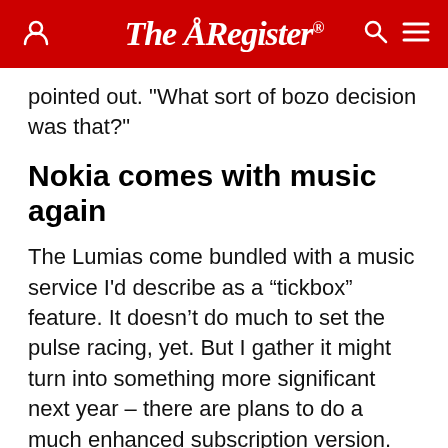The Register
pointed out. "What sort of bozo decision was that?"
Nokia comes with music again
The Lumias come bundled with a music service I'd describe as a “tickbox” feature. It doesn’t do much to set the pulse racing, yet. But I gather it might turn into something more significant next year – there are plans to do a much enhanced subscription version.
The new offering, Nokia Music, is currently a set of pre-packaged playlists which can be played offline (cacheing lasts for a month). Rights-holders are paid on a usage basis. There are hundreds of these “canned static stations” as a Nokian called them. You can create